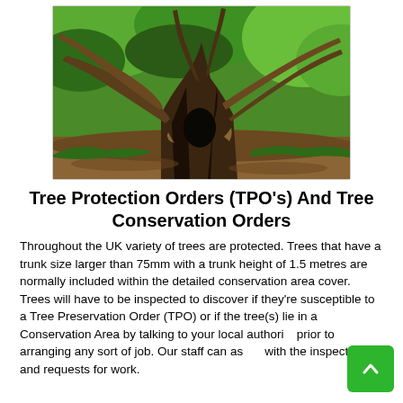[Figure (photo): Large ancient tree with multiple thick trunks and branches spreading wide, photographed in a forested park setting with green foliage in the background.]
Tree Protection Orders (TPO's) And Tree Conservation Orders
Throughout the UK variety of trees are protected. Trees that have a trunk size larger than 75mm with a trunk height of 1.5 metres are normally included within the detailed conservation area cover. Trees will have to be inspected to discover if they're susceptible to a Tree Preservation Order (TPO) or if the tree(s) lie in a Conservation Area by talking to your local authority prior to arranging any sort of job. Our staff can assist with the inspections and requests for work.